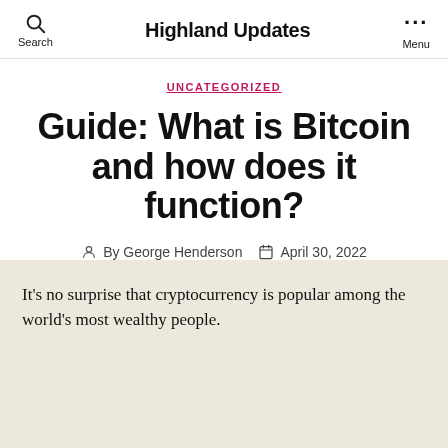Highland Updates
UNCATEGORIZED
Guide: What is Bitcoin and how does it function?
By George Henderson  April 30, 2022
It's no surprise that cryptocurrency is popular among the world's most wealthy people.